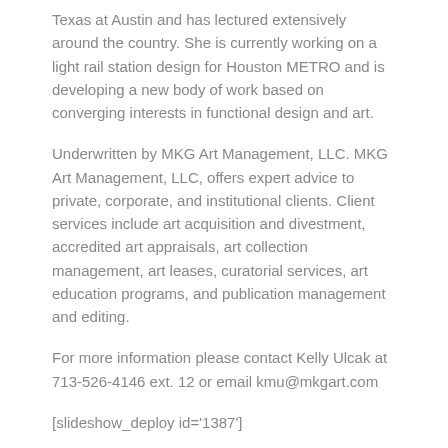Texas at Austin and has lectured extensively around the country. She is currently working on a light rail station design for Houston METRO and is developing a new body of work based on converging interests in functional design and art.
Underwritten by MKG Art Management, LLC. MKG Art Management, LLC, offers expert advice to private, corporate, and institutional clients. Client services include art acquisition and divestment, accredited art appraisals, art collection management, art leases, curatorial services, art education programs, and publication management and editing.
For more information please contact Kelly Ulcak at 713-526-4146 ext. 12 or email kmu@mkgart.com
[slideshow_deploy id='1387']
[Figure (other): Broken image placeholder thumbnail with navigation arrow and caption 'My Work – Allison Hunter – Houston Chronicle']
My Work – Allison Hunter – Houston Chronicle